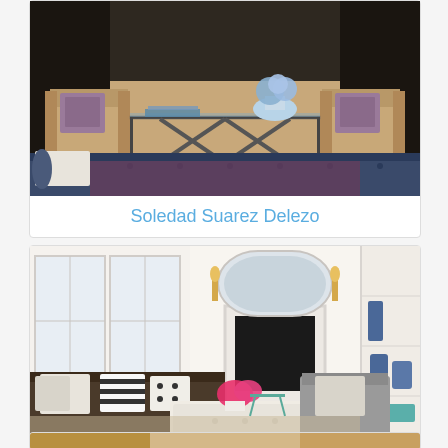[Figure (photo): Interior living room with dark navy tufted sofa, glass coffee table with X-frame metal base, beige armchairs with patterned pillows, hardwood floor, bookcase in background, blue hydrangeas on table]
Soledad Suarez Delezo
[Figure (photo): Bright white living room with dark sofa with striped pillows, white tufted ottoman, gray armchair, fireplace with ornate white mirror above, built-in shelves with blue and white vases, pink flowers on coffee table]
Coleen McGill
[Figure (photo): Partial view of another interior room, warm tones visible at bottom of page]